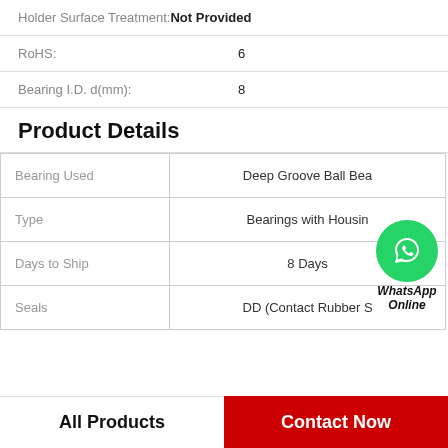Holder Surface Treatment: Not Provided
RoHS: 6
Bearing I.D. d(mm): 8
Product Details
|  |  |
| --- | --- |
| Bearing Used | Deep Groove Ball Bea |
| Type | Bearings with Housin |
| Days to Ship | 8 Days |
| Seals | DD (Contact Rubber S |
All Products
Contact Now